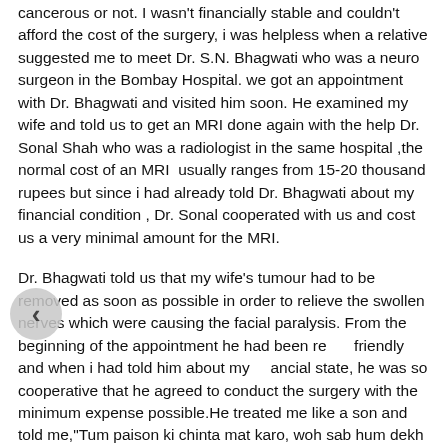...p.g.ind.1 And we didn't even know if the tumour was cancerous or not. I wasn't financially stable and couldn't afford the cost of the surgery, i was helpless when a relative suggested me to meet Dr. S.N. Bhagwati who was a neuro surgeon in the Bombay Hospital. we got an appointment with Dr. Bhagwati and visited him soon. He examined my wife and told us to get an MRI done again with the help Dr. Sonal Shah who was a radiologist in the same hospital ,the normal cost of an MRI usually ranges from 15-20 thousand rupees but since i had already told Dr. Bhagwati about my financial condition , Dr. Sonal cooperated with us and cost us a very minimal amount for the MRI.
Dr. Bhagwati told us that my wife's tumour had to be removed as soon as possible in order to relieve the swollen nerves which were causing the facial paralysis. From the beginning of the appointment he had been really friendly and when i had told him about my financial state, he was so cooperative that he agreed to conduct the surgery with the minimum expense possible.He treated me like a son and told me,"Tum paison ki chinta mat karo, woh sab hum dekh lengey aur sab theek kar dengey.